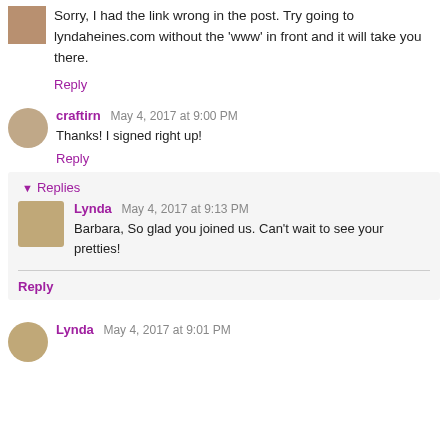Sorry, I had the link wrong in the post. Try going to lyndaheines.com without the 'www' in front and it will take you there.
Reply
craftirn May 4, 2017 at 9:00 PM
Thanks! I signed right up!
Reply
Replies
Lynda May 4, 2017 at 9:13 PM
Barbara, So glad you joined us. Can't wait to see your pretties!
Reply
Lynda May 4, 2017 at 9:01 PM